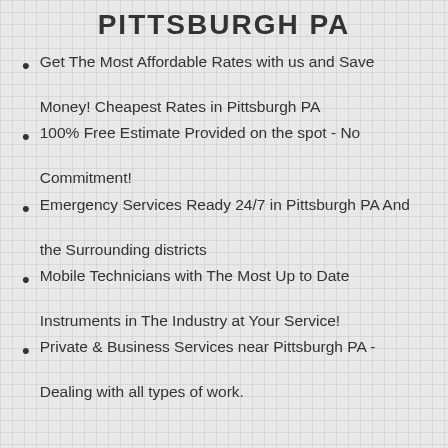PITTSBURGH PA
Get The Most Affordable Rates with us and Save Money! Cheapest Rates in Pittsburgh PA
100% Free Estimate Provided on the spot - No Commitment!
Emergency Services Ready 24/7 in Pittsburgh PA And the Surrounding districts
Mobile Technicians with The Most Up to Date Instruments in The Industry at Your Service!
Private & Business Services near Pittsburgh PA - Dealing with all types of work.